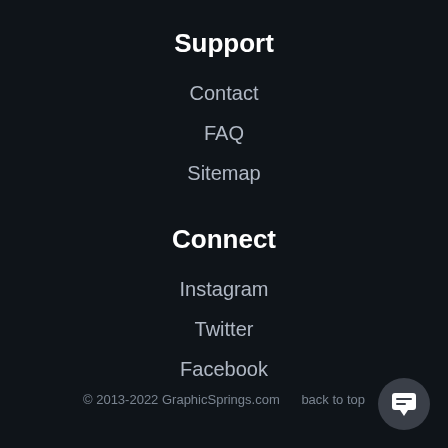Support
Contact
FAQ
Sitemap
Connect
Instagram
Twitter
Facebook
© 2013-2022 GraphicSprings.com    back to top